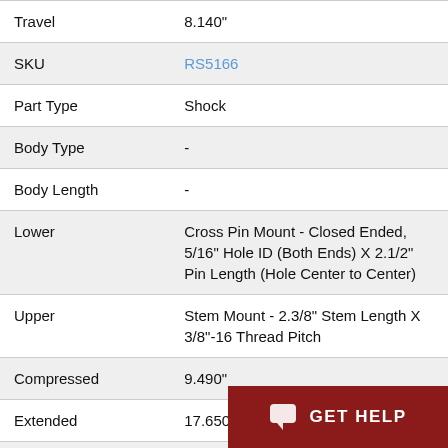| Property | Value |
| --- | --- |
| Travel | 8.140" |
| SKU | RS5166 |
| Part Type | Shock |
| Body Type | - |
| Body Length | - |
| Lower | Cross Pin Mount - Closed Ended, 5/16" Hole ID (Both Ends) X 2.1/2" Pin Length (Hole Center to Center) |
| Upper | Stem Mount - 2.3/8" Stem Length X 3/8"-16 Thread Pitch |
| Compressed | 9.490" |
| Extended | 17.650" |
| Travel | 4... |
GET HELP